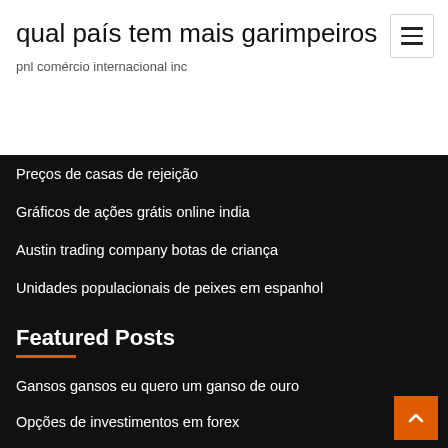qual país tem mais garimpeiros
pnl comércio internacional inc
Preços de casas de rejeição
Gráficos de ações grátis online india
Austin trading company botas de criança
Unidades populacionais de peixes em espanhol
Featured Posts
Gansos gansos eu quero um ganso de ouro
Opções de investimentos em forex
Principais opções de ações a longo prazo
Procurando botas de ouro